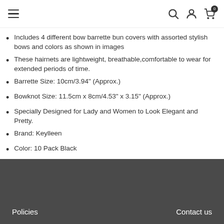≡  🔍 👤 🛒(0)
Includes 4 different bow barrette bun covers with assorted stylish bows and colors as shown in images
These hairnets are lightweight, breathable,comfortable to wear for extended periods of time.
Barrette Size: 10cm/3.94" (Approx.)
Bowknot Size: 11.5cm x 8cm/4.53" x 3.15" (Approx.)
Specially Designed for Lady and Women to Look Elegant and Pretty.
Brand: Keylleen
Color: 10 Pack Black
Keylleen Hair Nets Elastic Mesh for Girls Women Hair Accessories Bun Cover Set
Policies    Contact us